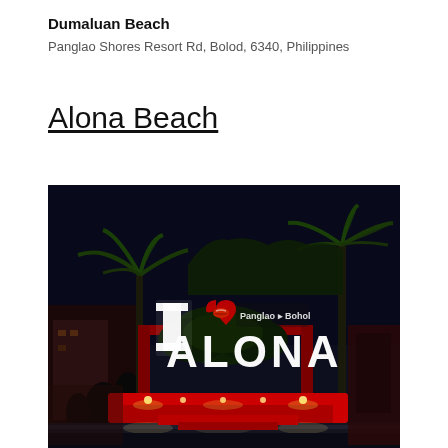Dumaluan Beach
Panglao Shores Resort Rd, Bolod, 6340, Philippines
Alona Beach
[Figure (photo): Nighttime photo of an illuminated sign reading 'I [lip icon] Panglao Bohol ALONA' with palm trees and a red pedestal structure in the foreground]